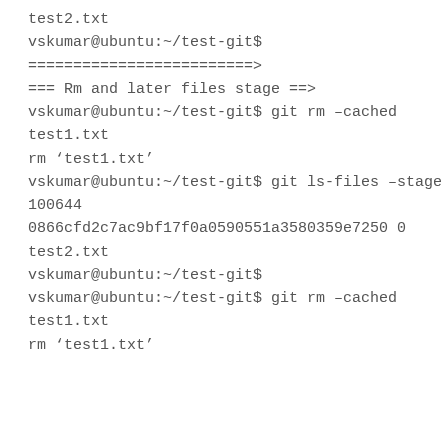test2.txt
vskumar@ubuntu:~/test-git$
=========================>
=== Rm and later files stage ==>
vskumar@ubuntu:~/test-git$ git rm –cached
test1.txt
rm 'test1.txt'
vskumar@ubuntu:~/test-git$ git ls-files –stage
100644
0866cfd2c7ac9bf17f0a0590551a3580359e7250 0
test2.txt
vskumar@ubuntu:~/test-git$
vskumar@ubuntu:~/test-git$ git rm –cached
test1.txt
rm 'test1.txt'